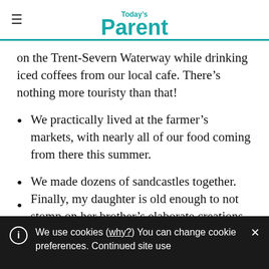Today's Parent
on the Trent-Severn Waterway while drinking iced coffees from our local cafe. There's nothing more touristy than that!
We practically lived at the farmer's markets, with nearly all of our food coming from there this summer.
We made dozens of sandcastles together. Finally, my daughter is old enough to not stomp on her brother's elaborate creations which makes beach days more
We use cookies (why?) You can change cookie preferences. Continued site use